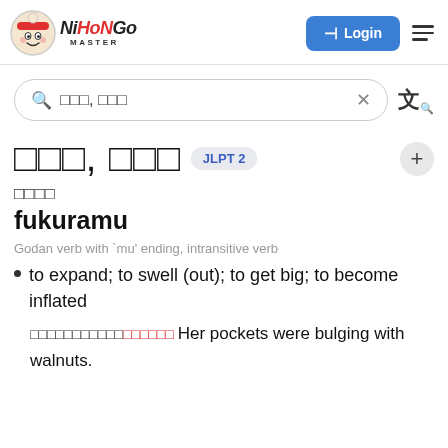Nihongo Master — Login
ふくらむ, 膨らむ [search query]
ふくらむ, 膨らむ  JLPT 2
ふくらむ
fukuramu
Godan verb with 'mu' ending, intransitive verb
to expand; to swell (out); to get big; to become inflated
彼女のポケットはクルミで膨らんでいた。 Her pockets were bulging with walnuts.